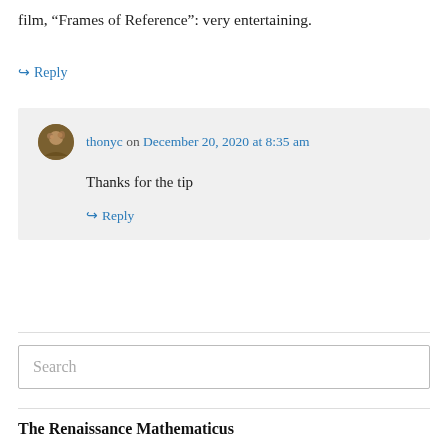film, “Frames of Reference”: very entertaining.
↳ Reply
thonyc on December 20, 2020 at 8:35 am
Thanks for the tip
↳ Reply
Search
The Renaissance Mathematicus